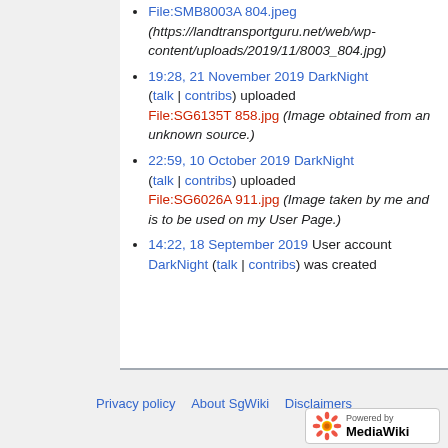19:28, 21 November 2019 DarkNight (talk | contribs) uploaded File:SG6135T 858.jpg (Image obtained from an unknown source.)
22:59, 10 October 2019 DarkNight (talk | contribs) uploaded File:SG6026A 911.jpg (Image taken by me and is to be used on my User Page.)
14:22, 18 September 2019 User account DarkNight (talk | contribs) was created
Privacy policy   About SgWiki   Disclaimers